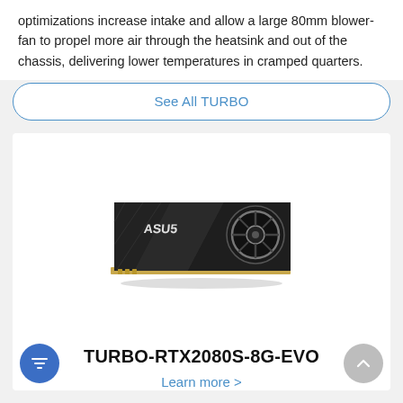optimizations increase intake and allow a large 80mm blower-fan to propel more air through the heatsink and out of the chassis, delivering lower temperatures in cramped quarters.
See All TURBO
[Figure (photo): ASUS TURBO-RTX2080S-8G-EVO graphics card with blower-style fan, viewed from above, dark angular design with ASUS logo]
TURBO-RTX2080S-8G-EVO
Learn more >